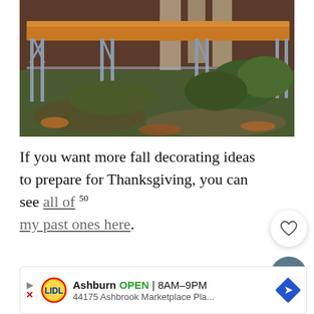[Figure (photo): Outdoor wooden bench with metal legs on grassy ground near a wooden structure, autumn setting]
If you want more fall decorating ideas to prepare for Thanksgiving, you can see all of 50 my past ones here.
Or you can see all of our past furniture make...
[Figure (other): Advertisement banner: Lidl store in Ashburn, OPEN 8AM-9PM, 44175 Ashbrook Marketplace Pla...]